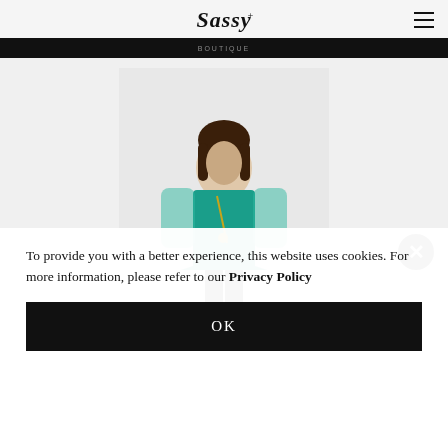Sassy
[Figure (photo): Fashion product photo: woman wearing a teal/turquoise tunic top with sheer sleeves and gold necklace, paired with black leggings, against a white background.]
To provide you with a better experience, this website uses cookies. For more information, please refer to our Privacy Policy
OK